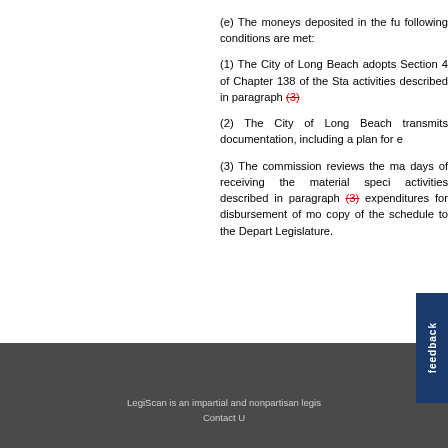(e) The moneys deposited in the fu following conditions are met:
(1) The City of Long Beach adopts Section 4 of Chapter 138 of the Sta activities described in paragraph (3)
(2) The City of Long Beach transmits documentation, including a plan for e
(3) The commission reviews the ma days of receiving the material speci activities described in paragraph (3) expenditures for disbursement of mo copy of the schedule to the Depart Legislature.
LegiScan is an impartial and nonpartisan legis Contact U